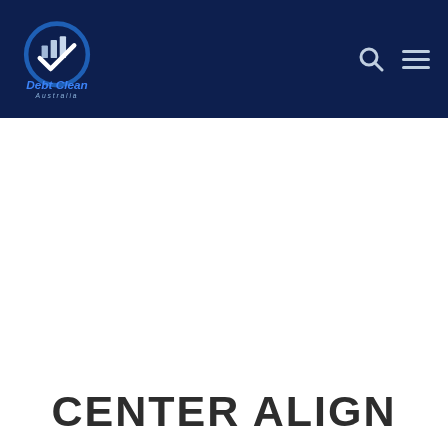[Figure (logo): Debt Clean Australia logo — circular blue emblem with bar chart and checkmark, with 'Debt Clean' in bold blue italic and 'Australia' in lighter blue italic below]
CENTER ALIGN